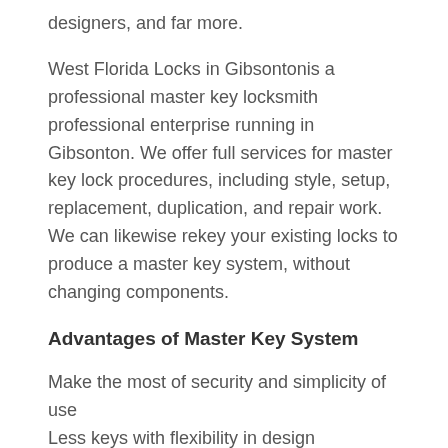designers, and far more.
West Florida Locks in Gibsontonis a professional master key locksmith professional enterprise running in Gibsonton. We offer full services for master key lock procedures, including style, setup, replacement, duplication, and repair work. We can likewise rekey your existing locks to produce a master key system, without changing components.
Advantages of Master Key System
Make the most of security and simplicity of use
Less keys with flexibility in design
Control who has access to what doors
Each person just requires to bring one key, even when opening numerous entrances
Master key unlocks all doors
Master key solutions are ideal for customers with workplaces, government buildings, hospitals,